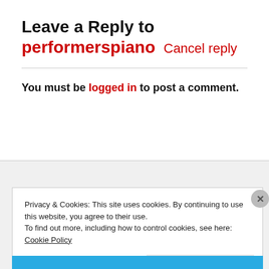Leave a Reply to performerspiano Cancel reply
You must be logged in to post a comment.
Privacy & Cookies: This site uses cookies. By continuing to use this website, you agree to their use.
To find out more, including how to control cookies, see here: Cookie Policy
Close and accept